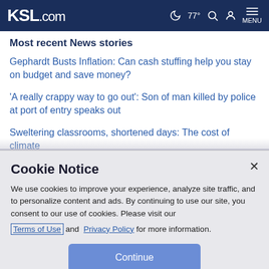KSL.com  🌙 77° 🔍 👤 MENU
Most recent News stories
Gephardt Busts Inflation: Can cash stuffing help you stay on budget and save money?
'A really crappy way to go out': Son of man killed by police at port of entry speaks out
Sweltering classrooms, shortened days: The cost of climate
Cookie Notice
We use cookies to improve your experience, analyze site traffic, and to personalize content and ads. By continuing to use our site, you consent to our use of cookies. Please visit our Terms of Use and  Privacy Policy for more information.
Continue